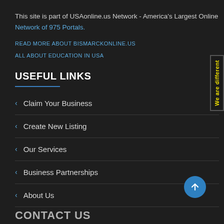This site is part of USAonline.us Network - America's Largest Online Network of 975 Portals.
READ MORE ABOUT BISMARCKONLINE.US
ALL ABOUT EDUCATION IN USA
USEFUL LINKS
Claim Your Business
Create New Listing
Our Services
Business Partnerships
About Us
[Figure (other): Side banner with yellow text reading 'We are different' rotated vertically]
[Figure (other): Blue circular scroll-to-top button with upward arrow icon]
CONTACT US